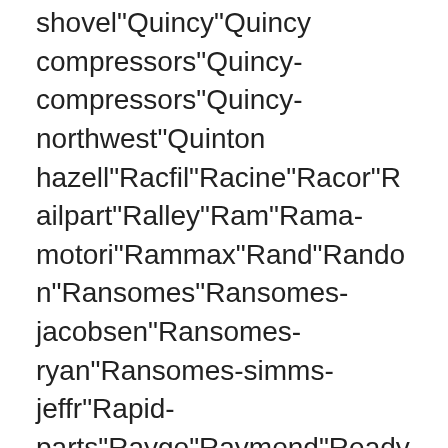shovel"Quincy"Quincy compressors"Quincy-compressors"Quincy-northwest"Quinton hazell"Racfil"Racine"Racor"Railpart"Ralley"Ram"Rama-motori"Rammax"Rand"Randon"Ransomes"Ransomes-jacobsen"Ransomes-ryan"Ransomes-simms-jeffr"Rapid-parts"Raygo"Raymond"Ready-power"Red-line"Reedrill"Refilco"Reformwerke-bauer"Regeltechnik"Reichdrill"Reliaguard"Reliant"Remkaflex"Renk"Reo-trucks"Repco"Republic-gear"Revley"Rex"Rex-mixers"Rexnord"Rexroth"Rexworks inc."Reytor"Rhiag"Ricambi"Richier"Rickel"Rimpull"Ripley"Rmh"Road pro"Roadtec"Robbins"Robin"Robin-nodwell"Rocket"Rockhill"Rockwell international"Rocla"Rogers-machinery"Roiline"Roka"Rol-pak"Rolls-royce"Roma"Roman"Rongsun"Roosa-master"Rostec"Rone"Rossen"Rosse"Rose"Ros...